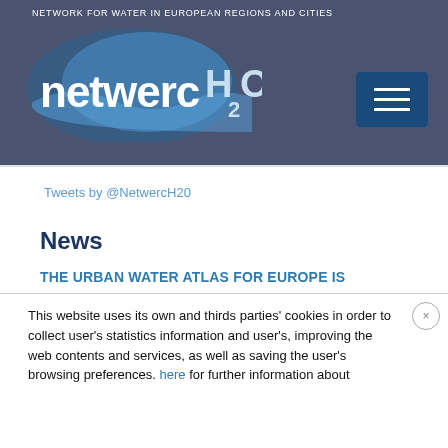NETWORK FOR WATER IN EUROPEAN REGIONS AND CITIES — netwercH2O
Tweets by @NetwercH20
News
THE URBAN WATER ATLAS FOR EUROPE IS
This website uses its own and thirds parties' cookies in order to collect user's statistics information and user's, improving the web contents and services, as well as saving the user's browsing preferences. here for further information about cookies
Cookie settings   REJECT ALL
ACCEPT ALL